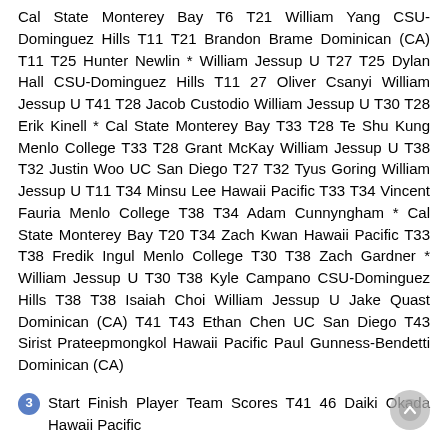Cal State Monterey Bay T6 T21 William Yang CSU-Dominguez Hills T11 T21 Brandon Brame Dominican (CA) T11 T25 Hunter Newlin * William Jessup U T27 T25 Dylan Hall CSU-Dominguez Hills T11 27 Oliver Csanyi William Jessup U T41 T28 Jacob Custodio William Jessup U T30 T28 Erik Kinell * Cal State Monterey Bay T33 T28 Te Shu Kung Menlo College T33 T28 Grant McKay William Jessup U T38 T32 Justin Woo UC San Diego T27 T32 Tyus Goring William Jessup U T11 T34 Minsu Lee Hawaii Pacific T33 T34 Vincent Fauria Menlo College T38 T34 Adam Cunnyngham * Cal State Monterey Bay T20 T34 Zach Kwan Hawaii Pacific T33 T38 Fredik Ingul Menlo College T30 T38 Zach Gardner * William Jessup U T30 T38 Kyle Campano CSU-Dominguez Hills T38 T38 Isaiah Choi William Jessup U Jake Quast Dominican (CA) T41 T43 Ethan Chen UC San Diego T43 Sirist Prateepmongkol Hawaii Pacific Paul Gunness-Bendetti Dominican (CA)
3 Start Finish Player Team Scores T41 46 Daiki Okada Hawaii Pacific
4 Pos. Team/Player (seed) Rd 1 Rd 2 Total 1 Sonoma State U Blake Bourelle (3) Spencer Clapp (2) T6 Jan